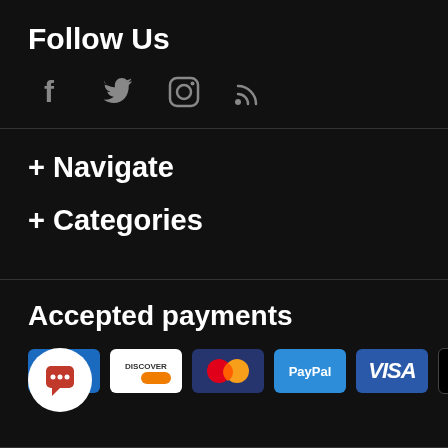Follow Us
[Figure (illustration): Social media icons: Facebook, Twitter, Instagram, RSS feed]
+ Navigate
+ Categories
Accepted payments
[Figure (illustration): Payment method icons: American Express, Discover, Mastercard, PayPal, Visa, Apple Pay]
[Figure (illustration): Chat bubble icon (white circle with chat icon)]